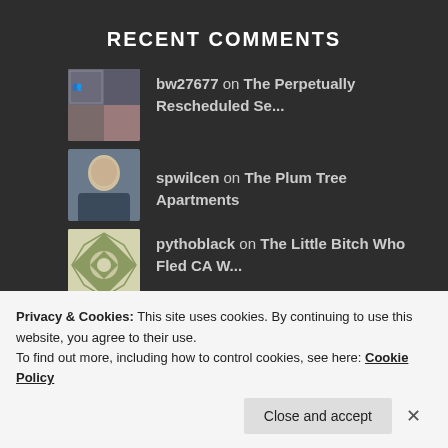RECENT COMMENTS
bw27677 on The Perpetually Rescheduled Se...
spwilcen on The Plum Tree Apartments
pythoblack on The Little Bitch Who Fled CA W...
pythoblack on As You Burn For California, It...
Privacy & Cookies: This site uses cookies. By continuing to use this website, you agree to their use.
To find out more, including how to control cookies, see here: Cookie Policy
Close and accept